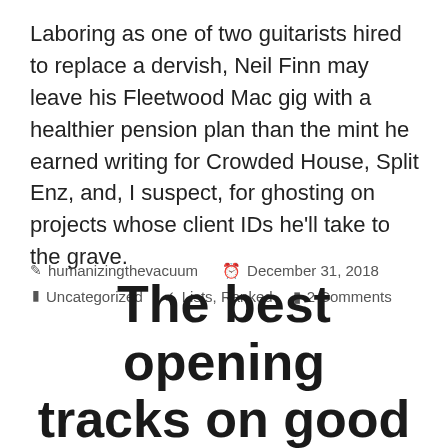Laboring as one of two guitarists hired to replace a dervish, Neil Finn may leave his Fleetwood Mac gig with a healthier pension plan than the mint he earned writing for Crowded House, Split Enz, and, I suspect, for ghosting on projects whose client IDs he'll take to the grave.
humanizingthevacuum  December 31, 2018  Uncategorized  Lists, Ranked  2 Comments
The best opening tracks on good